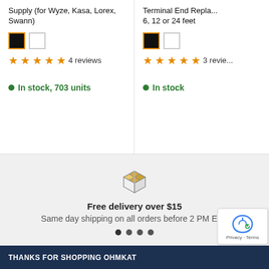Supply (for Wyze, Kasa, Lorex, Swann)
Terminal End Repla... 6, 12 or 24 feet
4 reviews
3 reviews
In stock, 703 units
In stock
Free delivery over $15
Same day shipping on all orders before 2 PM EST
THANKS FOR SHOPPING OHMKAT...